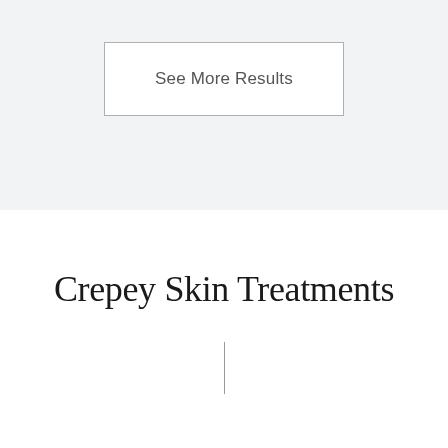See More Results
Crepey Skin Treatments